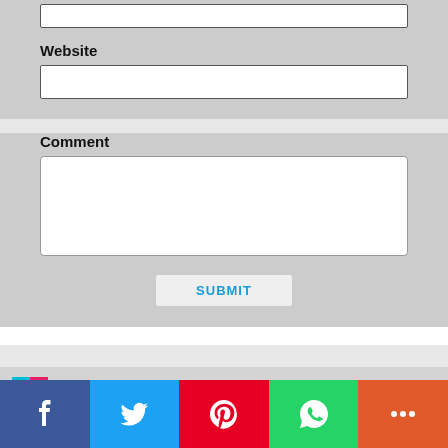Website
Comment
SUBMIT
Categories
[Figure (logo): Colorful square logo icon with cyan, magenta, yellow segments]
[Figure (infographic): Social share bar with Facebook, Twitter, Pinterest, WhatsApp, and More buttons]